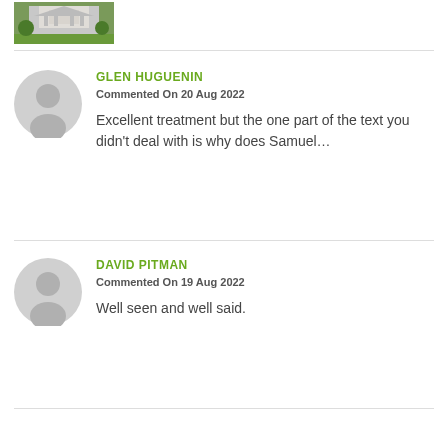[Figure (photo): Small thumbnail photo of a building or house with green lawn]
GLEN HUGUENIN
Commented On 20 Aug 2022
Excellent treatment but the one part of the text you didn't deal with is why does Samuel...
DAVID PITMAN
Commented On 19 Aug 2022
Well seen and well said.